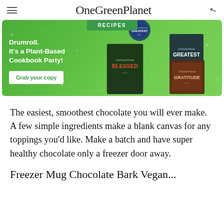OneGreenPlanet
[Figure (illustration): Green banner advertisement for OneGreenPlanet cookbooks. Text: 'Drumroll. It's a Plant-Based Cookbook Party!' with 'Grab your copy' button. Shows three cookbook covers: GREATEST, BLESSED, GRATITUDE. RECIPES tab at top.]
The easiest, smoothest chocolate you will ever make. A few simple ingredients make a blank canvas for any toppings you'd like. Make a batch and have super healthy chocolate only a freezer door away.
Freezer Mug Chocolate Bark Vegan...